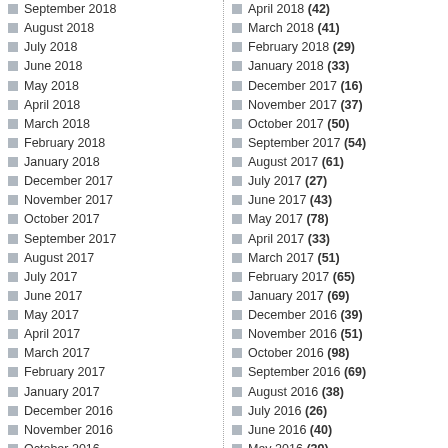September 2018
August 2018
July 2018
June 2018
May 2018
April 2018
March 2018
February 2018
January 2018
December 2017
November 2017
October 2017
September 2017
August 2017
July 2017
June 2017
May 2017
April 2017
March 2017
February 2017
January 2017
December 2016
November 2016
October 2016
September 2016
August 2016
April 2018 (42)
March 2018 (41)
February 2018 (29)
January 2018 (33)
December 2017 (16)
November 2017 (37)
October 2017 (50)
September 2017 (54)
August 2017 (61)
July 2017 (27)
June 2017 (43)
May 2017 (78)
April 2017 (33)
March 2017 (51)
February 2017 (65)
January 2017 (69)
December 2016 (39)
November 2016 (51)
October 2016 (98)
September 2016 (69)
August 2016 (38)
July 2016 (26)
June 2016 (40)
May 2016 (39)
April 2016 (102)
March 2016 (87)